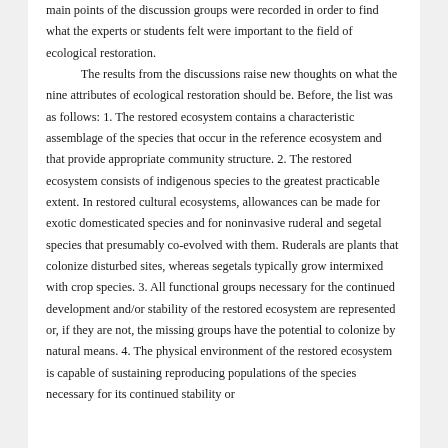main points of the discussion groups were recorded in order to find what the experts or students felt were important to the field of ecological restoration.

The results from the discussions raise new thoughts on what the nine attributes of ecological restoration should be. Before, the list was as follows: 1. The restored ecosystem contains a characteristic assemblage of the species that occur in the reference ecosystem and that provide appropriate community structure. 2. The restored ecosystem consists of indigenous species to the greatest practicable extent. In restored cultural ecosystems, allowances can be made for exotic domesticated species and for noninvasive ruderal and segetal species that presumably co-evolved with them. Ruderals are plants that colonize disturbed sites, whereas segetals typically grow intermixed with crop species. 3. All functional groups necessary for the continued development and/or stability of the restored ecosystem are represented or, if they are not, the missing groups have the potential to colonize by natural means. 4. The physical environment of the restored ecosystem is capable of sustaining reproducing populations of the species necessary for its continued stability or